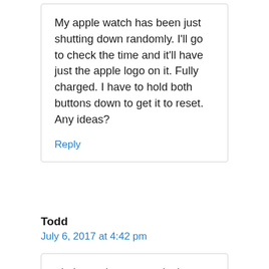My apple watch has been just shutting down randomly. I’ll go to check the time and it’ll have just the apple logo on it. Fully charged. I have to hold both buttons down to get it to reset. Any ideas?
Reply
Todd
July 6, 2017 at 4:42 pm
tried resetting my watch via resetting it through the watch itself. I’ve tried